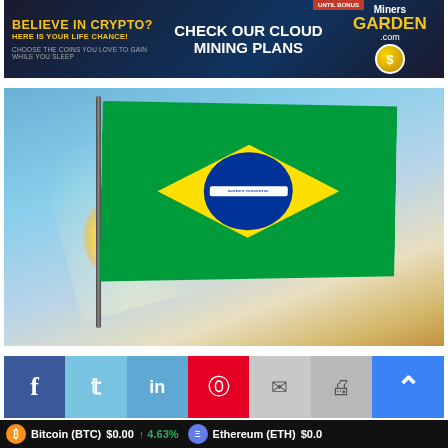[Figure (photo): Cryptocurrency cloud mining advertisement banner for MInersGarden.com with text 'BELIEVE IN CRYPTO? HERE IS YOUR LIFE CHANCE!', 'CHECK OUR CLOUD MINING PLANS', 'CHOOSE THE COINS YOU LOVE TO GAIN WHILE YOU SLEEP']
[Figure (photo): Brazilian flag waving against a dramatic sunset sky with sun rays visible behind the flagpole]
[Figure (infographic): Social media share bar with buttons: Facebook (blue), Twitter (light blue), LinkedIn (medium blue), Pinterest (red), Email (grey), Print (grey)]
[Figure (screenshot): Blockonomics advertisement banner on dark background with Learn More green button]
[Figure (infographic): Cryptocurrency price ticker showing Bitcoin (BTC) $0.00 up 4.63% and Ethereum (ETH) $0.0]